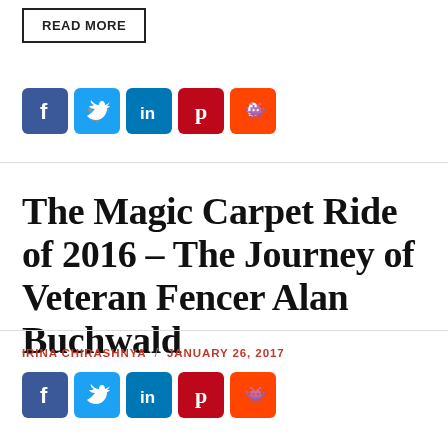READ MORE
[Figure (infographic): Row of social media share icons: Facebook (blue), Twitter (light blue), LinkedIn (teal/blue), Pinterest (red), Reddit (orange-red)]
The Magic Carpet Ride of 2016 – The Journey of Veteran Fencer Alan Buchwald
IRINA CHIRASHNYA / JANUARY 26, 2017
[Figure (infographic): Row of social media share icons: Facebook (blue), Twitter (light blue), LinkedIn (teal/blue), Pinterest (red), Reddit (orange-red)]